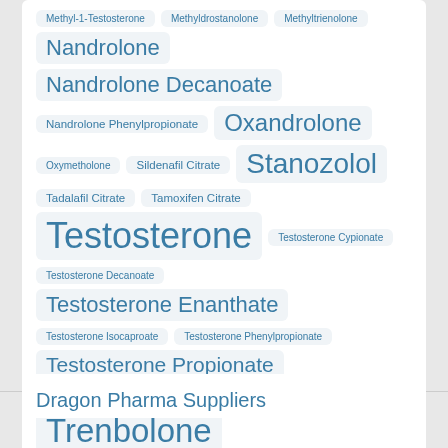Methyl-1-Testosterone
Methyldrostanolone
Methyltrienolone
Nandrolone
Nandrolone Decanoate
Nandrolone Phenylpropionate
Oxandrolone
Oxymetholone
Sildenafil Citrate
Stanozolol
Tadalafil Citrate
Tamoxifen Citrate
Testosterone
Testosterone Cypionate
Testosterone Decanoate
Testosterone Enanthate
Testosterone Isocaproate
Testosterone Phenylpropionate
Testosterone Propionate
Testosterone Suspension
Toremifene Citrate
Trenbolone
Trenbolone Acetate
Trenbolone Enanthate
Trenbolone Hexahydrobenzylcarbonate
Dragon Pharma Suppliers